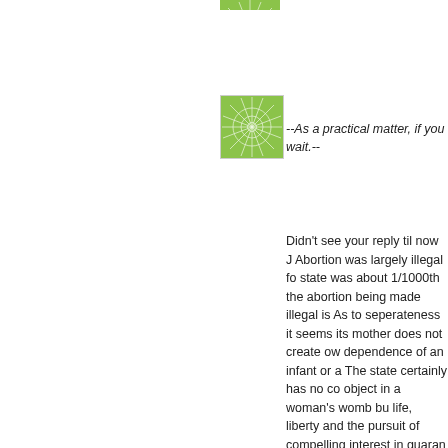[Figure (illustration): Small green starburst/geometric avatar icon (partially visible at top)]
[Figure (illustration): Green starburst/geometric pattern avatar icon, square with decorative radiating lines pattern on green background]
--As a practical matter, if you wait.--
Didn't see your reply til now J Abortion was largely illegal fo state was about 1/1000th the abortion being made illegal is As to seperateness it seems its mother does not create ow dependence of an infant or a The state certainly has no co object in a woman's womb bu life, liberty and the pursuit of compelling interest in guaran among us, above any others, And I have yet to see any rea the rare one of having to liter mother or the baby, that justi the benefit of any and all dou